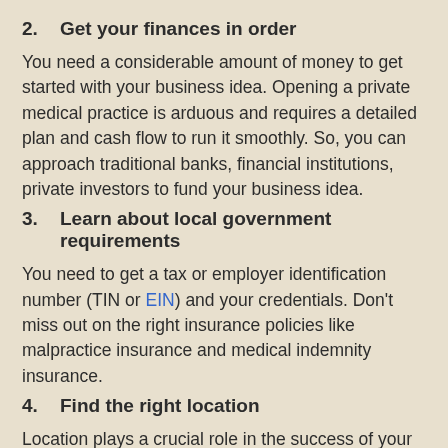2.   Get your finances in order
You need a considerable amount of money to get started with your business idea. Opening a private medical practice is arduous and requires a detailed plan and cash flow to run it smoothly. So, you can approach traditional banks, financial institutions, private investors to fund your business idea.
3.   Learn about local government requirements
You need to get a tax or employer identification number (TIN or EIN) and your credentials. Don’t miss out on the right insurance policies like malpractice insurance and medical indemnity insurance.
4.   Find the right location
Location plays a crucial role in the success of your business. Choose a site that has easy access to public transport. Ensuring your clinic is accessible will maximize the foot traffic.